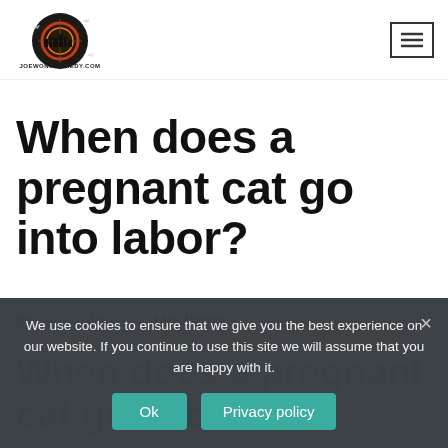[Figure (logo): Joewongcomedy.com logo — circular cityscape/compass graphic with airplane silhouettes, black and dark red tones, text 'JOEWONGCOMEDY.COM' and 'PLACE TO EXPAND YOUR HORIZONS' below]
When does a pregnant cat go into labor?
by Aurora Walker / 14/07/2019
We use cookies to ensure that we give you the best experience on our website. If you continue to use this site we will assume that you are happy with it.